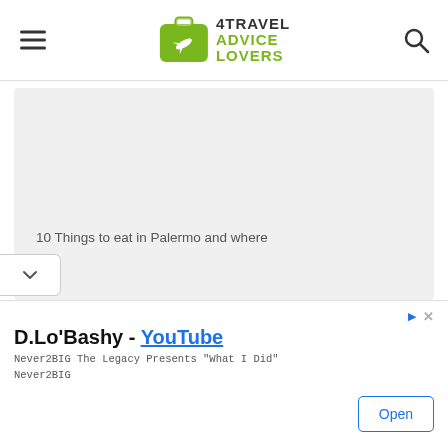[Figure (logo): 4Travel Advice Lovers logo with green suitcase icon and text]
[Figure (screenshot): Gray content card area showing article preview]
10 Things to eat in Palermo and where
[Figure (infographic): Advertisement banner: D.Lo'Bashy - YouTube, Never2BIG The Legacy Presents "What I Did" Never2BIG, with Open button]